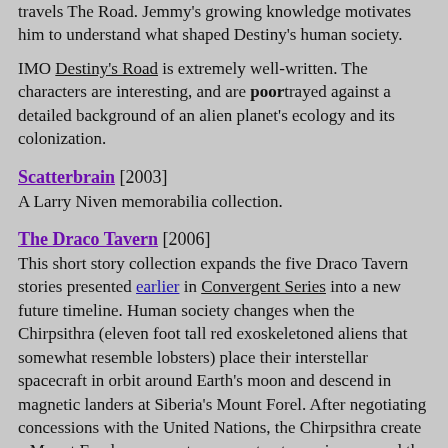travels The Road. Jemmy's growing knowledge motivates him to understand what shaped Destiny's human society.
IMO Destiny's Road is extremely well-written. The characters are interesting, and are poortrayed against a detailed background of an alien planet's ecology and its colonization.
Scatterbrain [2003]
A Larry Niven memorabilia collection.
The Draco Tavern [2006]
This short story collection expands the five Draco Tavern stories presented earlier in Convergent Series into a new future timeline. Human society changes when the Chirpsithra (eleven foot tall red exoskeletoned aliens that somewhat resemble lobsters) place their interstellar spacecraft in orbit around Earth's moon and descend in magnetic landers at Siberia's Mount Forel. After negotiating concessions with the United Nations, the Chirpsithra create a Mount Forel permanent spaceport, a town rises around the spaceport, and some people (including Rick Schumann) get very wealthy from secrets learned during discussions with aliens. Rick Schumann uses his wealth to partner with the Chirpsithra in creating the Draco Tavern, a watering hole for alien passengers traveling aboard Chirpsithra visiting spacecraft. His bar tending duties make Rich Schumann humanity's de facto envoy to the